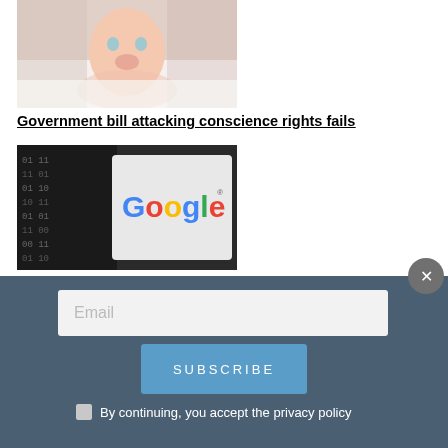[Figure (photo): Baby lying on white surface, looking up at camera, wearing a light pink outfit]
Government bill attacking conscience rights fails
[Figure (photo): Tablet or device showing the Google logo against a dark binary code background]
Google Filtering Pro-Life Pregnancy Center Results When People Search for Abortion Clinics
Email
Subscribe
By continuing, you accept the privacy policy